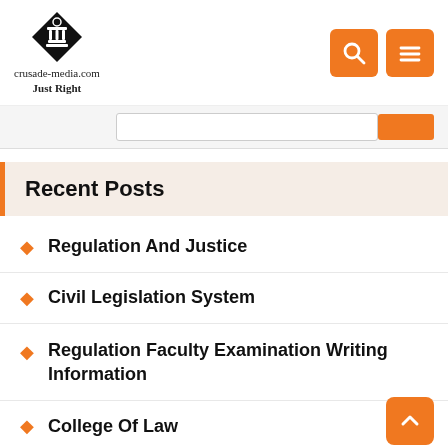crusade-media.com Just Right
Recent Posts
Regulation And Justice
Civil Legislation System
Regulation Faculty Examination Writing Information
College Of Law